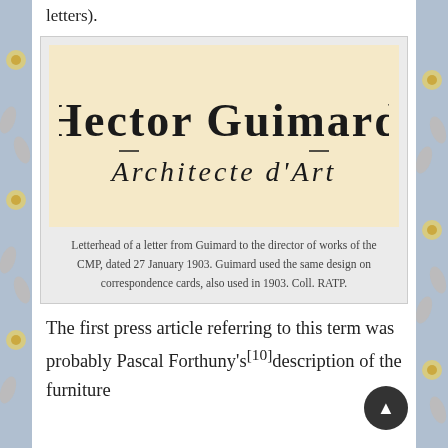letters).
[Figure (illustration): Letterhead in Art Nouveau style reading 'Hector Guimard Architecte d'Art' in ornate decorated lettering on cream/beige background]
Letterhead of a letter from Guimard to the director of works of the CMP, dated 27 January 1903. Guimard used the same design on correspondence cards, also used in 1903. Coll. RATP.
The first press article referring to this term was probably Pascal Forthuny's[10]description of the furniture